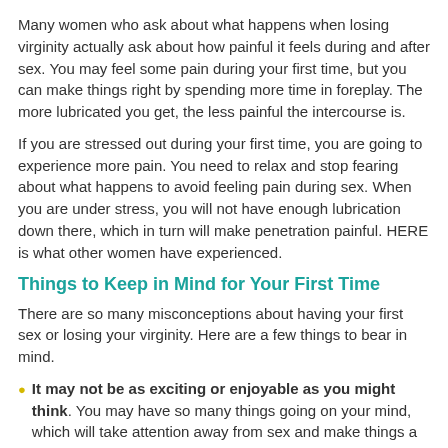Many women who ask about what happens when losing virginity actually ask about how painful it feels during and after sex. You may feel some pain during your first time, but you can make things right by spending more time in foreplay. The more lubricated you get, the less painful the intercourse is.
If you are stressed out during your first time, you are going to experience more pain. You need to relax and stop fearing about what happens to avoid feeling pain during sex. When you are under stress, you will not have enough lubrication down there, which in turn will make penetration painful. HERE is what other women have experienced.
Things to Keep in Mind for Your First Time
There are so many misconceptions about having your first sex or losing your virginity. Here are a few things to bear in mind.
It may not be as exciting or enjoyable as you might think. You may have so many things going on your mind, which will take attention away from sex and make things a bit painful. Do not expect much from your first sexual encounter, especially if it is also the first time for your partner.